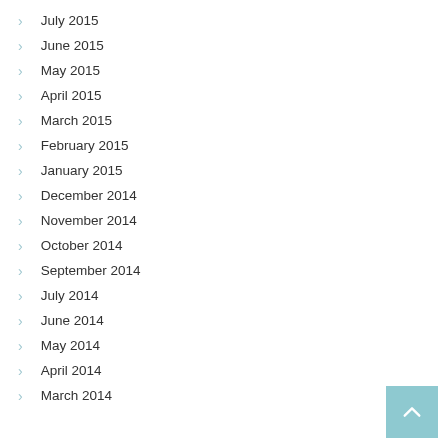July 2015
June 2015
May 2015
April 2015
March 2015
February 2015
January 2015
December 2014
November 2014
October 2014
September 2014
July 2014
June 2014
May 2014
April 2014
March 2014